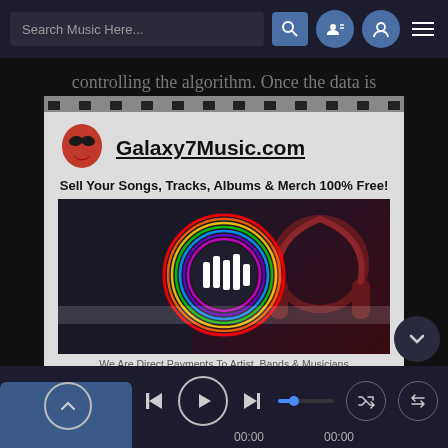[Figure (screenshot): Music streaming app UI screenshot with search bar, navigation icons, an embedded Galaxy7Music.com advertisement with film-strip border showing alien logo, music player controls at bottom with playback buttons and progress bar]
controlling the algorithm. Once the data is
Galaxy7Music.com
Sell Your Songs, Tracks, Albums & Merch 100% Free!
We Are Direct Payments To Artist, Bands & Musicians
Create Your Free Account And Sell Your Music Worldwide!
and spectral element classes, and a sample data file. The numerical class will consist of a set of
00:00  00:00